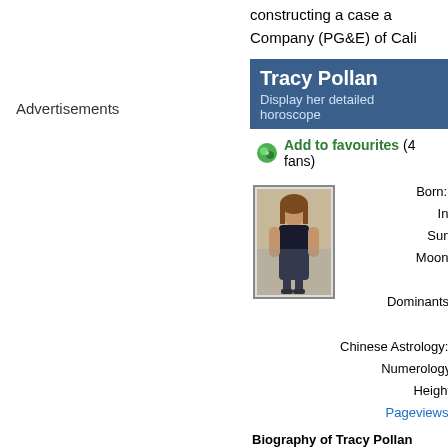constructing a case a... Company (PG&E) of Cali...
Advertisements
Tracy Pollan
Display her detailed horoscope
Add to favourites (4 fans)
[Figure (photo): Photo of Tracy Pollan, a woman in a black dress]
Born: We
In: Lo
Sun: 1°
Moon: 15
Ca
Dominants: Ju
Wa
Chinese Astrology: Me
Numerology: Bi
Height: Tr
Pageviews: 17
Biography of Tracy Pollan (excer...
Tracy Jo Pollan (born J... Early life Pollan was bo... t Cali d St...